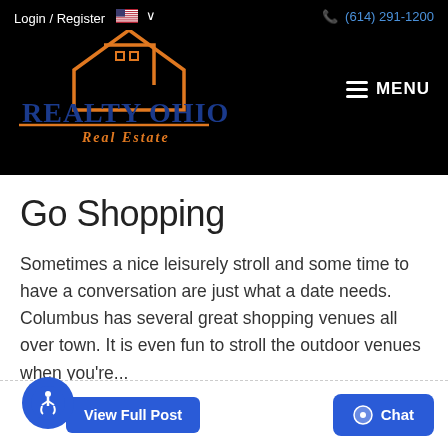Login / Register  (614) 291-1200  REALTY OHIO Real Estate  MENU
Go Shopping
Sometimes a nice leisurely stroll and some time to have a conversation are just what a date needs. Columbus has several great shopping venues all over town. It is even fun to stroll the outdoor venues when you're...
View Full Post  Chat